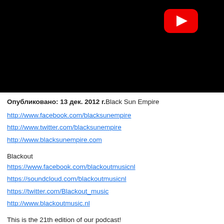[Figure (screenshot): YouTube video thumbnail with black background and red YouTube play button icon in upper right area]
Опубликовано: 13 дек. 2012 г.Black Sun Empire
http://www.facebook.com/blacksunempire
http://www.twitter.com/blacksunempire
http://www.blacksunempire.com
Blackout
https://www.facebook.com/blackoutmusicnl
https://soundcloud.com/blackoutmusicnl
https://twitter.com/Blackout_music
http://www.blackoutmusic.nl
This is the 21th edition of our podcast!